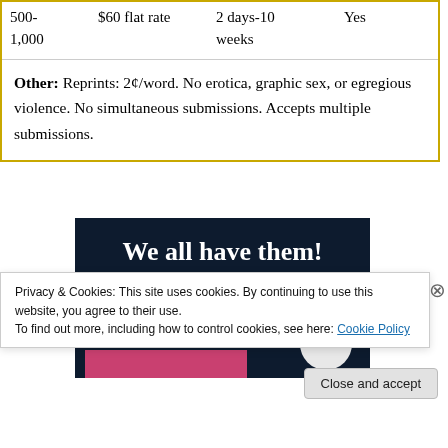| 500-
1,000 | $60 flat rate | 2 days-10
weeks | Yes |
| Other: Reprints: 2¢/word. No erotica, graphic sex, or egregious violence. No simultaneous submissions. Accepts multiple submissions. |  |  |  |
[Figure (illustration): Dark navy blue advertisement image with white bold serif text reading 'We all have them!' with partial view of a pink element and a white circle at lower right.]
Privacy & Cookies: This site uses cookies. By continuing to use this website, you agree to their use.
To find out more, including how to control cookies, see here: Cookie Policy
Close and accept